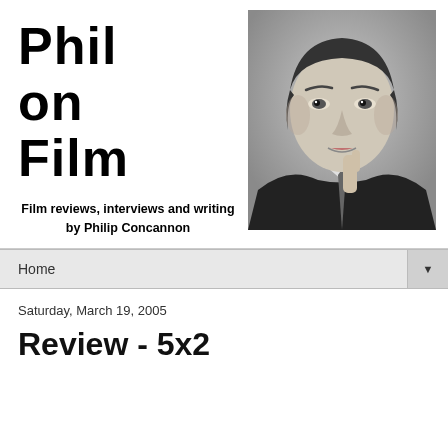Phil on Film
Film reviews, interviews and writing by Philip Concannon
[Figure (photo): Black and white portrait photograph of a young man in a suit, resting his chin on his hand in a thoughtful pose]
Home
Saturday, March 19, 2005
Review - 5x2